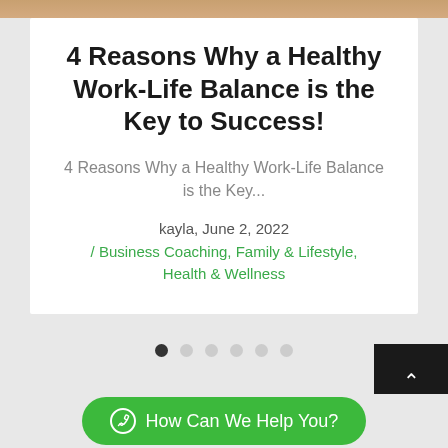4 Reasons Why a Healthy Work-Life Balance is the Key to Success!
4 Reasons Why a Healthy Work-Life Balance is the Key...
kayla, June 2, 2022 / Business Coaching, Family & Lifestyle, Health & Wellness
• ○ ○ ○ ○ ○
How Can We Help You?